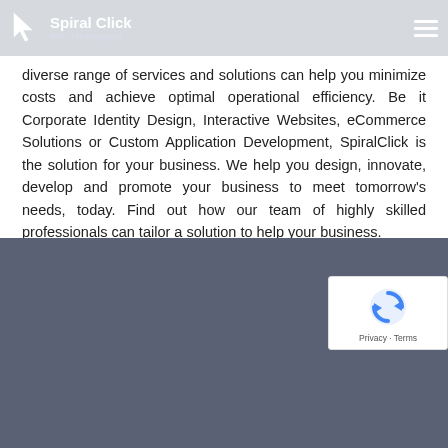SpiralClick Web Technologies
diverse range of services and solutions can help you minimize costs and achieve optimal operational efficiency. Be it Corporate Identity Design, Interactive Websites, eCommerce Solutions or Custom Application Development, SpiralClick is the solution for your business. We help you design, innovate, develop and promote your business to meet tomorrow's needs, today. Find out how our team of highly skilled professionals can tailor a solution to help your business.
[Figure (logo): reCAPTCHA widget with shield/refresh icon, Privacy and Terms links]